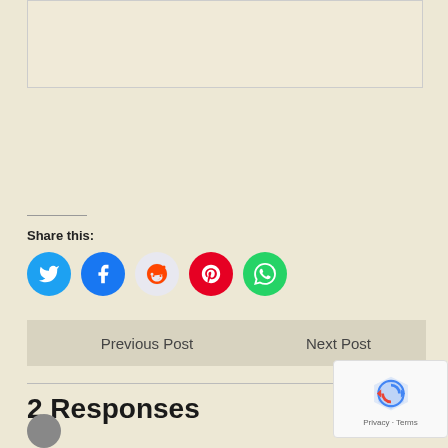[Figure (photo): Top image area placeholder with light beige background]
Share this:
[Figure (infographic): Social share buttons: Twitter (blue), Facebook (blue), Reddit (light), Pinterest (red), WhatsApp (green)]
Previous Post
Next Post
2 Responses
[Figure (logo): Google reCAPTCHA badge with Privacy and Terms links]